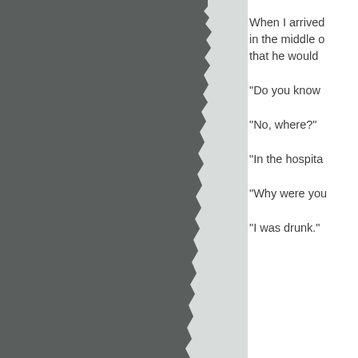[Figure (photo): Torn page effect showing a dark grey background with a ragged torn edge on the right side, creating a visual split between the dark image area on the left and the white text area on the right.]
When I arrived in the middle o that he would
“Do you know
“No, where?”
“In the hospita
“Why were you
“I was drunk.”